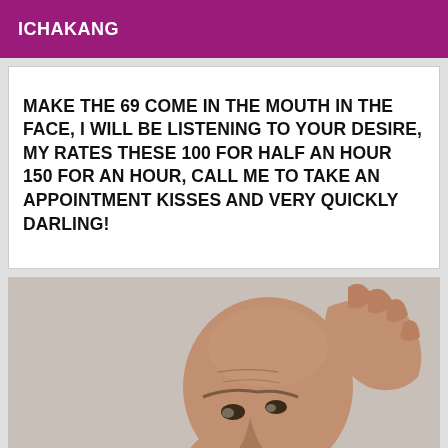ICHAKANG
MAKE THE 69 COME IN THE MOUTH IN THE FACE, I WILL BE LISTENING TO YOUR DESIRE, MY RATES THESE 100 FOR HALF AN HOUR 150 FOR AN HOUR, CALL ME TO TAKE AN APPOINTMENT KISSES AND VERY QUICKLY DARLING!
[Figure (photo): A bald middle-aged man with a beard, wearing a black wristband, holding his hand on top of his head and looking upward with a frustrated or exasperated expression. Background is a neutral grey/beige.]